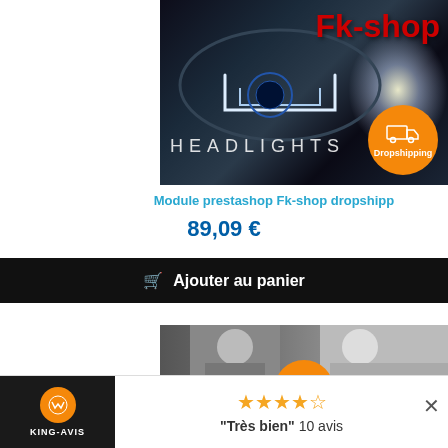[Figure (photo): Fk-shop headlights product banner with car headlight close-up, 'Fk-shop' text in red, 'HEADLIGHTS' in white letters, and an orange Dropshipping badge circle with truck icon]
Module prestashop Fk-shop dropshipp
89,09 €
🛒 Ajouter au panier
[Figure (photo): Second product image showing people in black and white with orange Dropshipping badge]
"Très bien" 10 avis